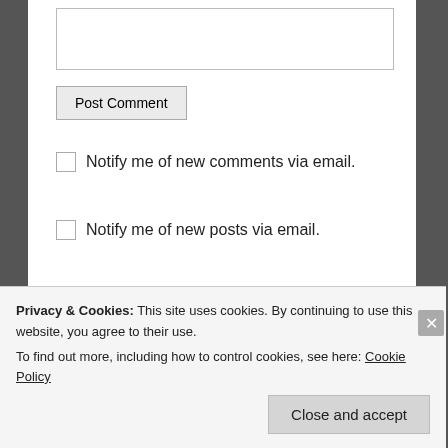[comment input box]
Post Comment
Notify me of new comments via email.
Notify me of new posts via email.
gender Giller prize graphic novel grief historical fiction identity Ireland Louise Penny love Magic Realism marriage Memoir murder Murder mystery Mystery narration National Book Award New York New York Times Bestseller Non-fiction Non-human protagonists parenting
Privacy & Cookies: This site uses cookies. By continuing to use this website, you agree to their use.
To find out more, including how to control cookies, see here: Cookie Policy
Close and accept